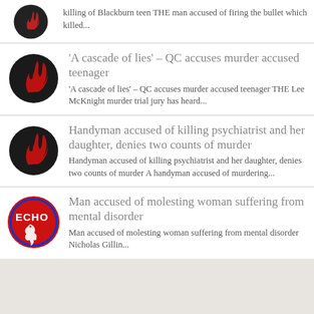killing of Blackburn teen THE man accused of firing the bullet which killed...
'A cascade of lies' – QC accuses murder accused teenager
'A cascade of lies' – QC accuses murder accused teenager THE Lee McKnight murder trial jury has heard...
Handyman accused of killing psychiatrist and her daughter, denies two counts of murder
Handyman accused of killing psychiatrist and her daughter, denies two counts of murder A handyman accused of murdering...
Man accused of molesting woman suffering from mental disorder
Man accused of molesting woman suffering from mental disorder Nicholas Gillin...